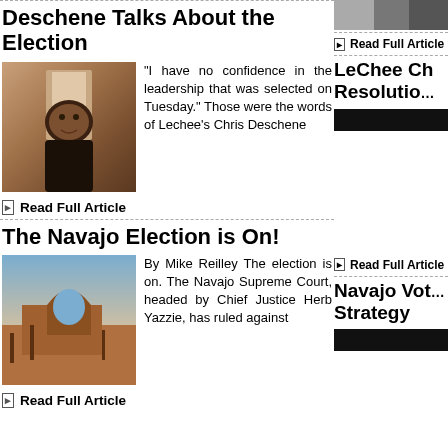Deschene Talks About the Election
[Figure (photo): Portrait photo of Chris Deschene, a Native American man wearing a dark jacket, smiling]
“I have no confidence in the leadership that was selected on Tuesday.” Those were the words of Lechee’s Chris Deschene
▸ Read Full Article
[Figure (photo): Photo of people gathered, partially visible at top right]
▸ Read Full Article
LeChee Ch… Resolutio…
[Figure (photo): Black bar/image placeholder for LeChee article]
The Navajo Election is On!
[Figure (photo): Photo of a desert rock arch landscape with red rocks and sparse trees]
By Mike Reilley The election is on. The Navajo Supreme Court, headed by Chief Justice Herb Yazzie, has ruled against
▸ Read Full Article
▸ Read Full Article
Navajo Vot… Strategy
[Figure (photo): Black bar/image placeholder for Navajo Voting Strategy article]